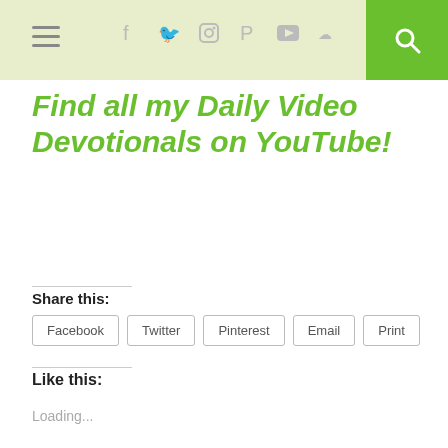Navigation and social media header bar with hamburger menu, social icons (Facebook, Twitter, Instagram, Pinterest, YouTube, SoundCloud), and search button
Find all my Daily Video Devotionals on YouTube!
Share this:
Facebook  Twitter  Pinterest  Email  Print
Like this:
Loading...